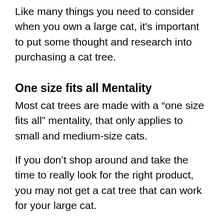Like many things you need to consider when you own a large cat, it's important to put some thought and research into purchasing a cat tree.
One size fits all Mentality
Most cat trees are made with a “one size fits all” mentality, that only applies to small and medium-size cats.
If you don’t shop around and take the time to really look for the right product, you may not get a cat tree that can work for your large cat.